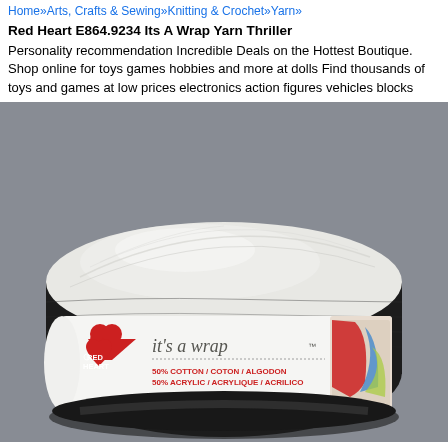Home»Arts, Crafts & Sewing»Knitting & Crochet»Yarn»
Red Heart E864.9234 Its A Wrap Yarn Thriller
Personality recommendation Incredible Deals on the Hottest Boutique. Shop online for toys games hobbies and more at dolls Find thousands of toys and games at low prices electronics action figures vehicles blocks
[Figure (photo): Red Heart 'It's A Wrap' yarn cake in Thriller colorway, showing black yarn on outside graduating to white/cream on top. Label reads: it's a wrap, 50% COTTON / COTON / ALGODON, 50% ACRYLIC / ACRYLIQUE / ACRILICO, 7 oz / 200 g, 1100 yds/v 1006 m, NET WT / POIDS NET / PESO NETO. Red heart logo on label.]